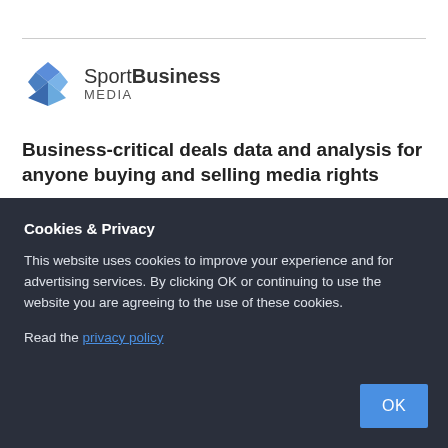[Figure (logo): SportBusiness Media logo with blue geometric diamond shape icon and text 'SportBusiness MEDIA']
Business-critical deals data and analysis for anyone buying and selling media rights
Cookies & Privacy
This website uses cookies to improve your experience and for advertising services. By clicking OK or continuing to use the website you are agreeing to the use of these cookies.
Read the privacy policy